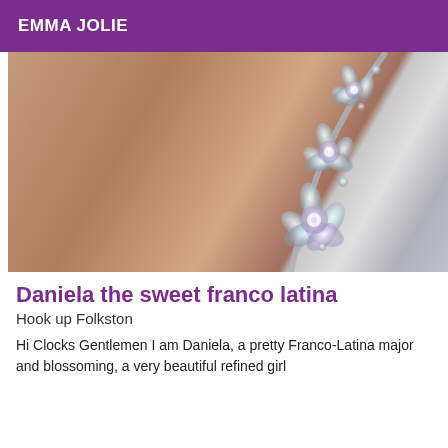EMMA JOLIE
[Figure (photo): Close-up photo showing skin and a decorative jeweled/rhinestone accessory or bra strap with large crystal embellishments on a dark background.]
Daniela the sweet franco latina
Hook up Folkston
Hi Clocks Gentlemen I am Daniela, a pretty Franco-Latina major and blossoming, a very beautiful refined girl